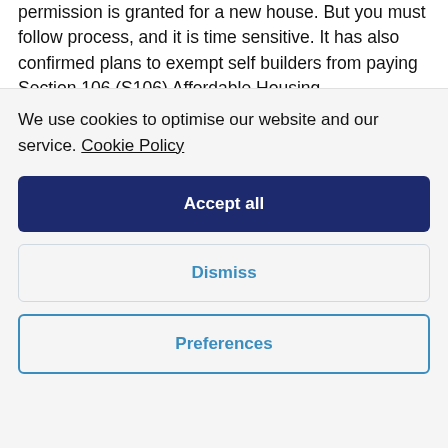permission is granted for a new house. But you must follow process, and it is time sensitive. It has also confirmed plans to exempt self builders from paying Section 106 (S106) Affordable Housing
We use cookies to optimise our website and our service. Cookie Policy
Accept all
Dismiss
Preferences